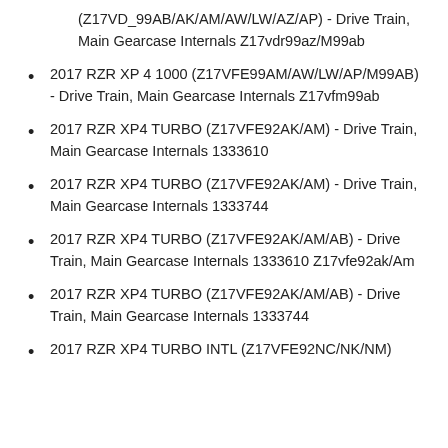(Z17VD_99AB/AK/AM/AW/LW/AZ/AP) - Drive Train, Main Gearcase Internals Z17vdr99az/M99ab
2017 RZR XP 4 1000 (Z17VFE99AM/AW/LW/AP/M99AB) - Drive Train, Main Gearcase Internals Z17vfm99ab
2017 RZR XP4 TURBO (Z17VFE92AK/AM) - Drive Train, Main Gearcase Internals 1333610
2017 RZR XP4 TURBO (Z17VFE92AK/AM) - Drive Train, Main Gearcase Internals 1333744
2017 RZR XP4 TURBO (Z17VFE92AK/AM/AB) - Drive Train, Main Gearcase Internals 1333610 Z17vfe92ak/Am
2017 RZR XP4 TURBO (Z17VFE92AK/AM/AB) - Drive Train, Main Gearcase Internals 1333744
2017 RZR XP4 TURBO INTL (Z17VFE92NC/NK/NM)